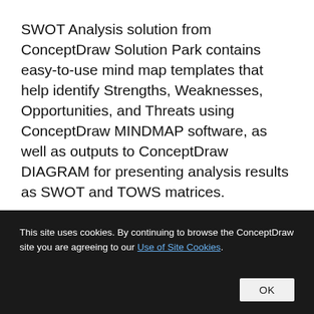SWOT Analysis solution from ConceptDraw Solution Park contains easy-to-use mind map templates that help identify Strengths, Weaknesses, Opportunities, and Threats using ConceptDraw MINDMAP software, as well as outputs to ConceptDraw DIAGRAM for presenting analysis results as SWOT and TOWS matrices.
This site uses cookies. By continuing to browse the ConceptDraw site you are agreeing to our Use of Site Cookies. OK